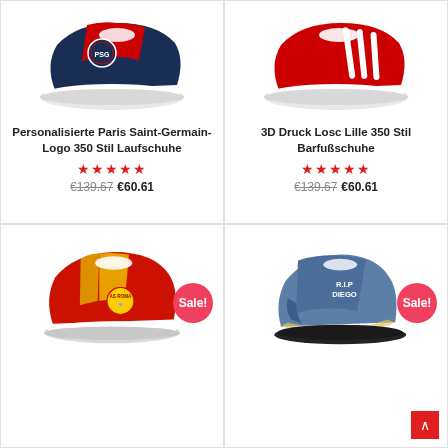[Figure (photo): Custom Paris Saint-Germain logo Yeezy 350-style sneaker in navy blue and red with white sole]
Personalisierte Paris Saint-Germain-Logo 350 Stil Laufschuhe
★★★★★
€139.67  €60.61
[Figure (photo): 3D print LOSC Lille Yeezy 350-style sneaker in red with white stripes and white sole]
3D Druck Losc Lille 350 Stil Barfußschuhe
★★★★★
€139.67  €60.61
[Figure (photo): AS Roma custom Yeezy-style sneaker in red and gold/yellow with club logo and white sole, Sale badge visible]
[Figure (photo): R.I.P Diego memorial custom sneaker in blue/grey colorway with black sole, Sale badge visible]